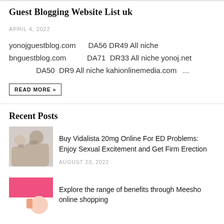Guest Blogging Website List uk
APRIL 4, 2022
yonojguestblog.com    DA56 DR49 All niche
bnguestblog.com         DA71  DR33 All niche yonoj.net
   DA50  DR9 All niche kahionlinemedia.com   ...
READ MORE »
Recent Posts
[Figure (photo): Couple in distress on bed - man holding head in hands]
Buy Vidalista 20mg Online For ED Problems: Enjoy Sexual Excitement and Get Firm Erection
AUGUST 23, 2022
[Figure (photo): Meesho pink shopping app illustration with 'esho' text visible]
Explore the range of benefits through Meesho online shopping